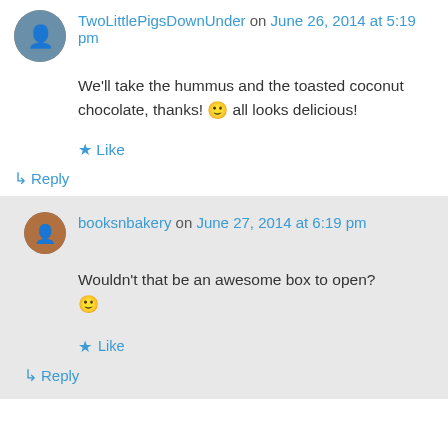TwoLittlePigsDownUnder on June 26, 2014 at 5:19 pm
We'll take the hummus and the toasted coconut chocolate, thanks! 🙂 all looks delicious!
⭐ Like
↳ Reply
booksnbakery on June 27, 2014 at 6:19 pm
Wouldn't that be an awesome box to open? 🙂
⭐ Like
↳ Reply